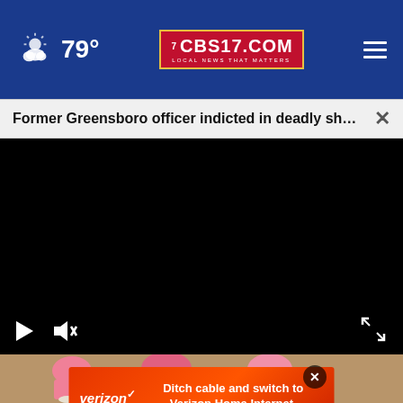79° CBS17.COM LOCAL NEWS THAT MATTERS
Former Greensboro officer indicted in deadly shoo...
[Figure (screenshot): Black video player area with playback controls at bottom: play button, mute button, fullscreen button]
[Figure (photo): People in pink shirts running, partial view of runners' torsos and legs]
[Figure (advertisement): Verizon ad: orange-red gradient background with text 'Ditch cable and switch to Verizon Home Internet.' with Verizon logo and checkmark]